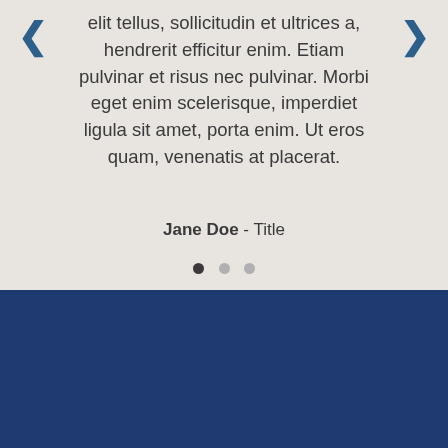elit tellus, sollicitudin et ultrices a, hendrerit efficitur enim. Etiam pulvinar et risus nec pulvinar. Morbi eget enim scelerisque, imperdiet ligula sit amet, porta enim. Ut eros quam, venenatis at placerat.
Jane Doe - Title
COLLEGE FACTS
NICC is focused on preserving and